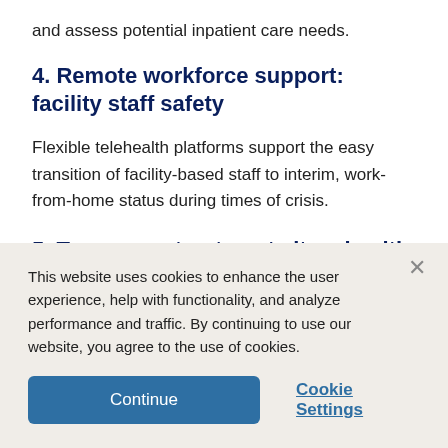and assess potential inpatient care needs.
4. Remote workforce support: facility staff safety
Flexible telehealth platforms support the easy transition of facility-based staff to interim, work-from-home status during times of crisis.
5. Temporary treatment sites: health service continuity
This website uses cookies to enhance the user experience, help with functionality, and analyze performance and traffic. By continuing to use our website, you agree to the use of cookies.